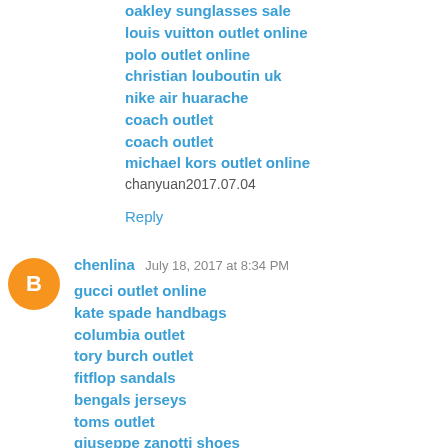oakley sunglasses sale
louis vuitton outlet online
polo outlet online
christian louboutin uk
nike air huarache
coach outlet
coach outlet
michael kors outlet online
chanyuan2017.07.04
Reply
chenlina  July 18, 2017 at 8:34 PM
gucci outlet online
kate spade handbags
columbia outlet
tory burch outlet
fitflop sandals
bengals jerseys
toms outlet
giuseppe zanotti shoes
yeezy boost 350 v2